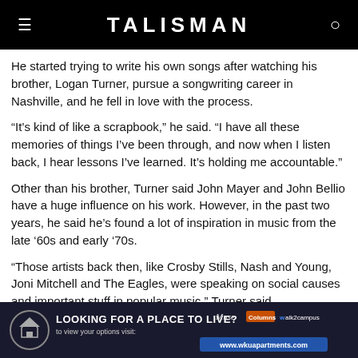TALISMAN
He started trying to write his own songs after watching his brother, Logan Turner, pursue a songwriting career in Nashville, and he fell in love with the process.
“It’s kind of like a scrapbook,” he said. “I have all these memories of things I’ve been through, and now when I listen back, I hear lessons I’ve learned. It’s holding me accountable.”
Other than his brother, Turner said John Mayer and John Bellio have a huge influence on his work. However, in the past two years, he said he’s found a lot of inspiration in music from the late ’60s and early ‘70s.
“Those artists back then, like Crosby Stills, Nash and Young, Joni Mitchell and The Eagles, were speaking on social causes and important stuff in popular music,” Turner said.
[Figure (infographic): Advertisement banner: LOOKING FOR A PLACE TO LIVE? to view your options visit: www.wkuapartments.com with logos for Muse, Columns, walk2campus, and another brand.]